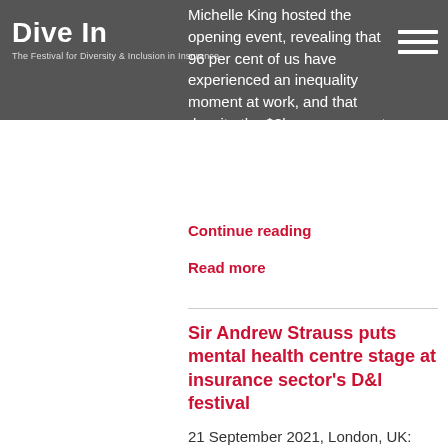Dive In
The Festival for Diversity & Inclusion in Insurance
Michelle King hosted the opening event, revealing that 96 per cent of us have experienced an inequality moment at work, and that despite the $8bn a year spent in the USA on diversity and inclusion …
Continue reading
Read more
Sir Andrew Strauss puts mental health centre stage at insurance sector's D&I festival
21 September 2021, London, UK: Cricketing legend Sir Andrew Strauss will launch discussions around mental health for Dive In 2021, as